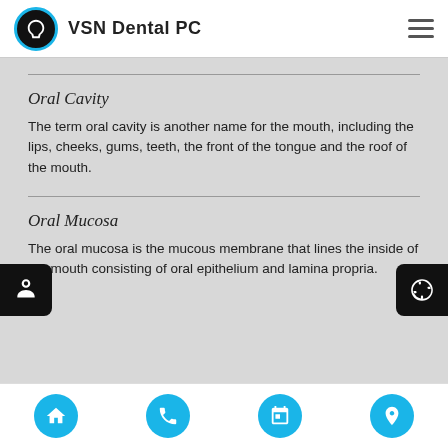VSN Dental PC
Oral Cavity
The term oral cavity is another name for the mouth, including the lips, cheeks, gums, teeth, the front of the tongue and the roof of the mouth.
Oral Mucosa
The oral mucosa is the mucous membrane that lines the inside of the mouth consisting of oral epithelium and lamina propria.